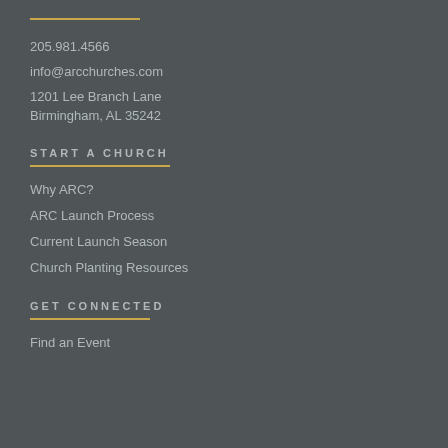205.981.4566
info@arcchurches.com
1201 Lee Branch Lane
Birmingham, AL 35242
START A CHURCH
Why ARC?
ARC Launch Process
Current Launch Season
Church Planting Resources
GET CONNECTED
Find an Event